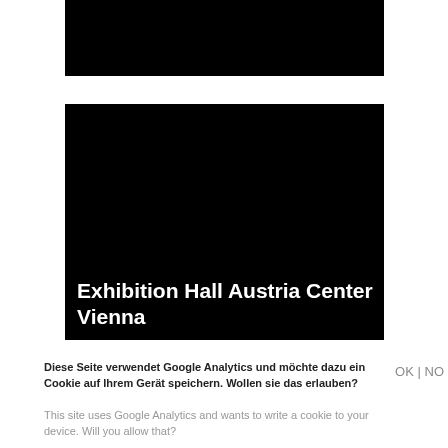[Figure (photo): Black rectangular image block at the top of the page]
[Figure (photo): Large black rectangular image with white text overlay reading 'Exhibition Hall Austria Center Vienna']
Diese Seite verwendet Google Analytics und möchte dazu ein Cookie auf Ihrem Gerät speichern. Wollen sie das erlauben?
OK | NO
This site uses Google Analytics and wants to write a cookie to your device. Will you allow that?